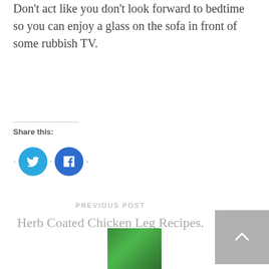Don't act like you don't look forward to bedtime so you can enjoy a glass on the sofa in front of some rubbish TV.
Share this:
[Figure (illustration): Twitter and Facebook circular share buttons with bullet separators]
PREVIOUS POST
Herb Coated Chicken Leg Recipes.
[Figure (photo): Small thumbnail photo of a person wearing green]